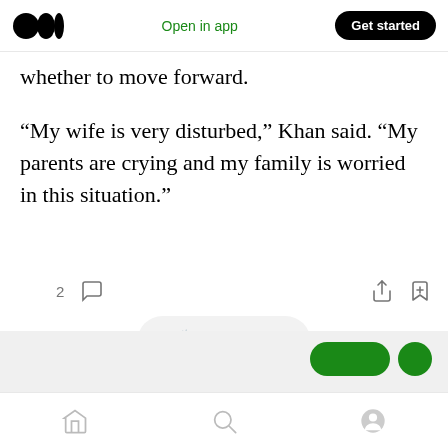Medium logo | Open in app | Get started
whether to move forward.
“My wife is very disturbed,” Khan said. “My parents are crying and my family is worried in this situation.”
[Figure (screenshot): Article interaction bar with clapping hands icon showing count 2, comment bubble icon, share icon, and bookmark-plus icon]
[Figure (screenshot): Floating pill interaction bar with clapping hands icon, count 2, divider, and comment bubble icon]
Bottom navigation bar with home, search, and profile icons